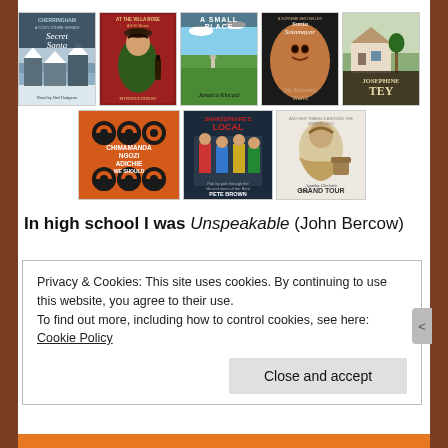[Figure (illustration): Row of 5 book covers: Cherringham Secret Santa, At the Villa Rose by A.E.W. Mason, A Small Place by Jamaica Kincaid, My Beloved World by Sonia Sotomayor, Josephine Tey]
[Figure (illustration): Row of 3 book covers: We Should All Be Feminists by Chimamanda Ngozi Adichie, Shakespeare's Local by Pete Brown, Agatha Christie The Grand Tour]
In high school I was Unspeakable (John Bercow)
Privacy & Cookies: This site uses cookies. By continuing to use this website, you agree to their use.
To find out more, including how to control cookies, see here: Cookie Policy
Close and accept